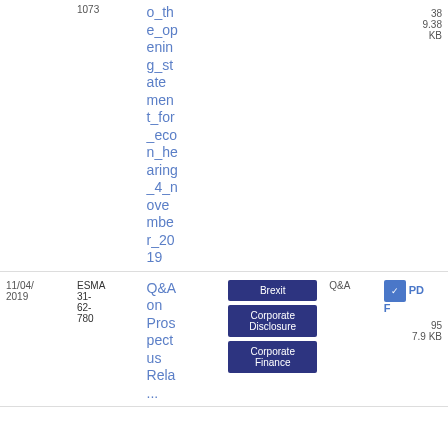| Date | Reference | Title | Tags | Type | Download |
| --- | --- | --- | --- | --- | --- |
|  | 1073 | o_the_opening_statement_for_econ_hearing_4_november_2019 |  |  | 38
9.38 KB |
| 11/04/2019 | ESMA 31-62-780 | Q&A on Prospectus Rela... | Brexit, Corporate Disclosure, Corporate Finance | Q&A | PDF
95
7.9 KB |